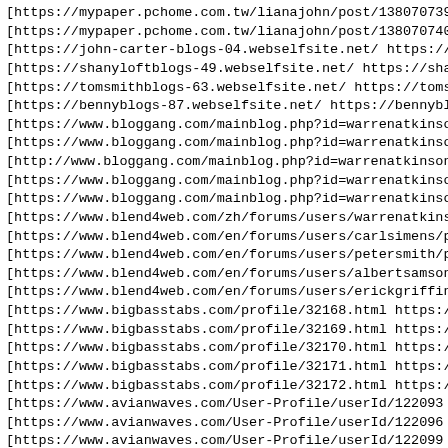[https://mypaper.pchome.com.tw/lianajohn/post/1380707392 ht
[https://mypaper.pchome.com.tw/lianajohn/post/1380707405 ht
[https://john-carter-blogs-04.webselfsite.net/ https://john
[https://shanyloftblogs-49.webselfsite.net/ https://shanylo
[https://tomsmithblogs-63.webselfsite.net/ https://tomsmith
[https://bennyblogs-87.webselfsite.net/ https://bennyblogs-
[https://www.bloggang.com/mainblog.php?id=warrenatkinson&mo
[https://www.bloggang.com/mainblog.php?id=warrenatkinson&mo
[http://www.bloggang.com/mainblog.php?id=warrenatkinson&mon
[https://www.bloggang.com/mainblog.php?id=warrenatkinson&mo
[https://www.bloggang.com/mainblog.php?id=warrenatkinson&mo
[https://www.blend4web.com/zh/forums/users/warrenatkinsoon/
[https://www.blend4web.com/en/forums/users/carlsimens/posts
[https://www.blend4web.com/en/forums/users/petersmith/posts
[https://www.blend4web.com/en/forums/users/albertsamson/pos
[https://www.blend4web.com/en/forums/users/erickgriffin/pos
[https://www.bigbasstabs.com/profile/32168.html https://www
[https://www.bigbasstabs.com/profile/32169.html https://www
[https://www.bigbasstabs.com/profile/32170.html https://www
[https://www.bigbasstabs.com/profile/32171.html https://www
[https://www.bigbasstabs.com/profile/32172.html https://www
[https://www.avianwaves.com/User-Profile/userId/122093 http
[https://www.avianwaves.com/User-Profile/userId/122096 http
[https://www.avianwaves.com/User-Profile/userId/122099 http
[https://www.avianwaves.com/User-Profile/userId/122100 http
[https://www.avianwaves.com/User-Profile/userId/122102 http
[https://www.atoallinks.com/2021/simple-philosophy-paper-to
[https://www.atoallinks.com/2021/the-most-effective-method-
[https://www.atoallinks.com/2021/conceptualizing-outlining-
[https://www.atoallinks.com/2021/innovative-ways-to-brain